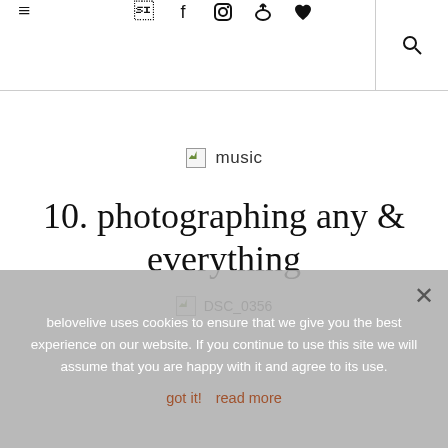≡  f ⬭ ⬭ ♥  🔍
[Figure (screenshot): Broken image placeholder with green landscape icon and 'music' text label]
10. photographing any & everything
[Figure (screenshot): Broken image placeholder with green landscape icon and DSC_0356 filename label]
belovelive uses cookies to ensure that we give you the best experience on our website. If you continue to use this site we will assume that you are happy with it and agree to its use.
got it!  read more